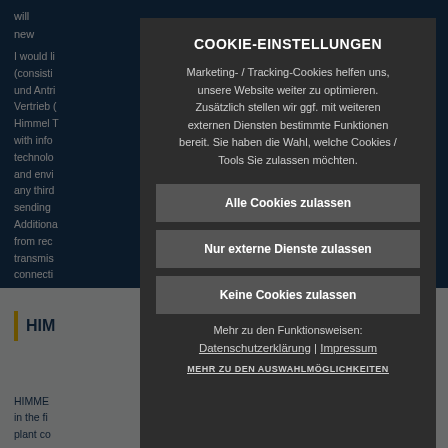[Figure (screenshot): Background website content showing blue-themed page with German text about Himmel Group, partially obscured by cookie modal overlay]
COOKIE-EINSTELLUNGEN
Marketing- / Tracking-Cookies helfen uns, unsere Website weiter zu optimieren. Zusätzlich stellen wir ggf. mit weiteren externen Diensten bestimmte Funktionen bereit. Sie haben die Wahl, welche Cookies / Tools Sie zulassen möchten.
Alle Cookies zulassen
Nur externe Dienste zulassen
Keine Cookies zulassen
Mehr zu den Funktionsweisen:
Datenschutzerklärung | Impressum
MEHR ZU DEN AUSWAHLMÖGLICHKEITEN